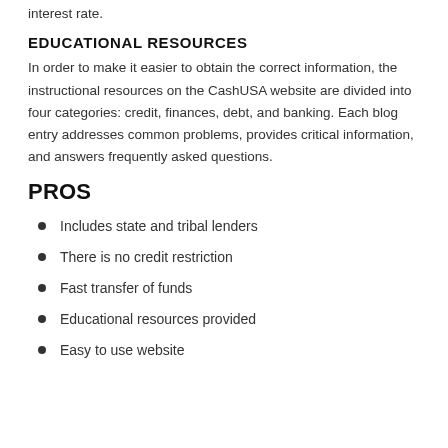interest rate.
EDUCATIONAL RESOURCES
In order to make it easier to obtain the correct information, the instructional resources on the CashUSA website are divided into four categories: credit, finances, debt, and banking. Each blog entry addresses common problems, provides critical information, and answers frequently asked questions.
PROS
Includes state and tribal lenders
There is no credit restriction
Fast transfer of funds
Educational resources provided
Easy to use website